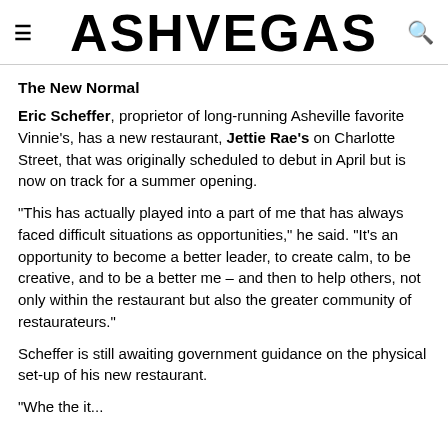ASHVEGAS
The New Normal
Eric Scheffer, proprietor of long-running Asheville favorite Vinnie's, has a new restaurant, Jettie Rae's on Charlotte Street, that was originally scheduled to debut in April but is now on track for a summer opening.
“This has actually played into a part of me that has always faced difficult situations as opportunities,” he said. “It’s an opportunity to become a better leader, to create calm, to be creative, and to be a better me – and then to help others, not only within the restaurant but also the greater community of restaurateurs.”
Scheffer is still awaiting government guidance on the physical set-up of his new restaurant.
“Whe the it...